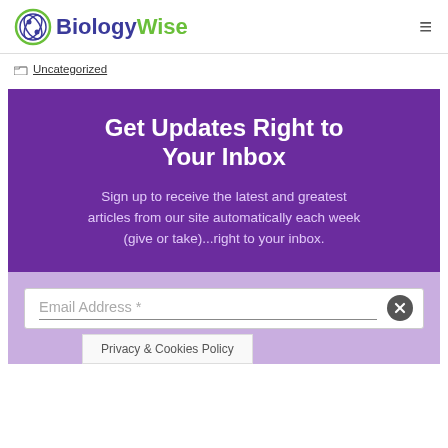BiologyWise
Uncategorized
Get Updates Right to Your Inbox
Sign up to receive the latest and greatest articles from our site automatically each week (give or take)...right to your inbox.
Email Address *
Privacy & Cookies Policy